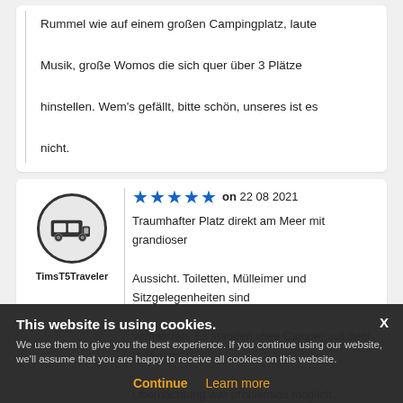Rummel wie auf einem großen Campingplatz, laute Musik, große Womos die sich quer über 3 Plätze hinstellen. Wem's gefällt, bitte schön, unseres ist es nicht.
★★★★★ on 22 08 2021
TimsT5Traveler
Traumhafter Platz direkt am Meer mit grandioser Aussicht. Toiletten, Mülleimer und Sitzgelegenheiten sind vorhanden. Es standen viele Camper auf dem Parkplatz, Übernachtung war problemlos möglich.
★★★★★ on 20 08 2021
trustmever
Calm place. Toilets were really clean. Area is beautiful.
This website is using cookies. We use them to give you the best experience. If you continue using our website, we'll assume that you are happy to receive all cookies on this website.
Continue  Learn more